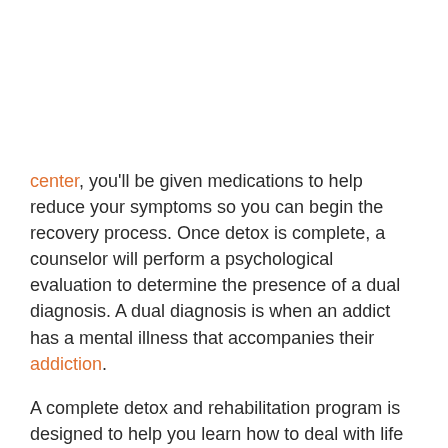center, you'll be given medications to help reduce your symptoms so you can begin the recovery process. Once detox is complete, a counselor will perform a psychological evaluation to determine the presence of a dual diagnosis. A dual diagnosis is when an addict has a mental illness that accompanies their addiction.
A complete detox and rehabilitation program is designed to help you learn how to deal with life on life's terms. By the time you leave treatment, you'll have a new handle on life that will allow you to live with a sense of peace and serenity that you never thought was possible. Don't bear the burden of your addiction any longer – call Beaches Recovery today and learn how we can help you regain